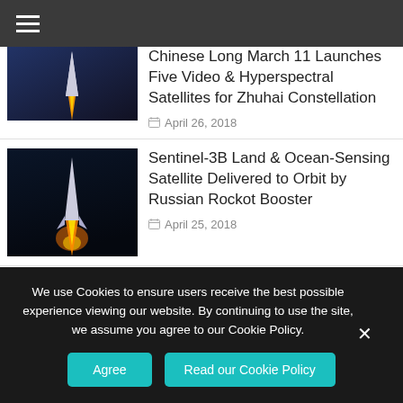Navigation menu bar
Chinese Long March 11 Launches Five Video & Hyperspectral Satellites for Zhuhai Constellation
April 26, 2018
Sentinel-3B Land & Ocean-Sensing Satellite Delivered to Orbit by Russian Rockot Booster
April 25, 2018
Falcon 9 Lifts TESS Exoplanet Hunter to Survey Earth's Cosmic Neighborhood for Habitable Worlds
We use Cookies to ensure users receive the best possible experience viewing our website. By continuing to use the site, we assume you agree to our Cookie Policy.
Agree | Read our Cookie Policy